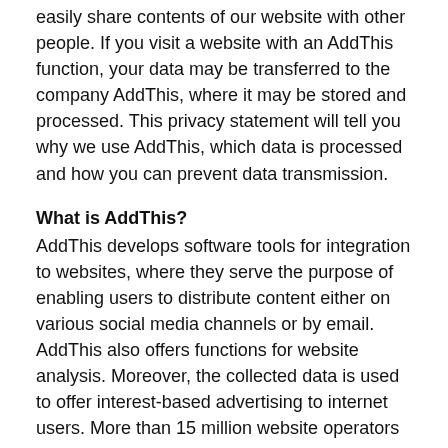easily share contents of our website with other people. If you visit a website with an AddThis function, your data may be transferred to the company AddThis, where it may be stored and processed. This privacy statement will tell you why we use AddThis, which data is processed and how you can prevent data transmission.
What is AddThis?
AddThis develops software tools for integration to websites, where they serve the purpose of enabling users to distribute content either on various social media channels or by email. AddThis also offers functions for website analysis. Moreover, the collected data is used to offer interest-based advertising to internet users. More than 15 million website operators worldwide have used the service.
Why do we use AddThis on our website?
Via AddThis buttons, you can share interesting content